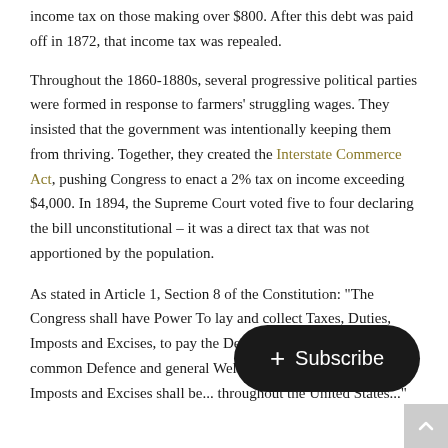income tax on those making over $800. After this debt was paid off in 1872, that income tax was repealed.
Throughout the 1860-1880s, several progressive political parties were formed in response to farmers' struggling wages. They insisted that the government was intentionally keeping them from thriving. Together, they created the Interstate Commerce Act, pushing Congress to enact a 2% tax on income exceeding $4,000. In 1894, the Supreme Court voted five to four declaring the bill unconstitutional – it was a direct tax that was not apportioned by the population.
As stated in Article 1, Section 8 of the Constitution: "The Congress shall have Power To lay and collect Taxes, Duties, Imposts and Excises, to pay the Debts and provide for the common Defence and general Welfare of... but all Duties, Imposts and Excises shall be... throughout the United States..."